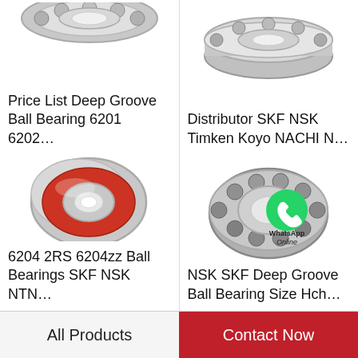[Figure (photo): Deep groove ball bearing, chrome steel, top portion visible (top-left cell)]
Price List Deep Groove Ball Bearing 6201 6202…
[Figure (photo): Ball bearing close-up, top-right cell]
Distributor SKF NSK Timken Koyo NACHI N…
[Figure (photo): 6204 2RS ball bearing with red rubber seals, silver metallic housing]
6204 2RS 6204zz Ball Bearings SKF NSK NTN…
[Figure (photo): NSK SKF Deep Groove Ball Bearing with WhatsApp Online overlay icon]
NSK SKF Deep Groove Ball Bearing Size Hch…
All Products
Contact Now